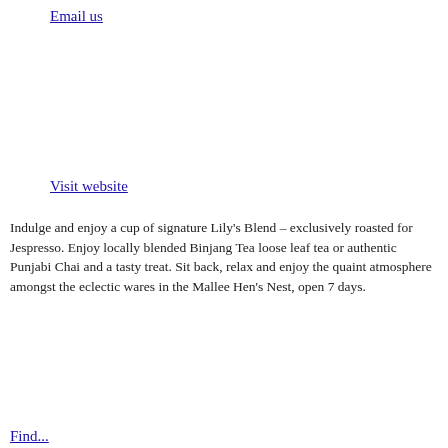Email us
Visit website
Indulge and enjoy a cup of signature Lily’s Blend – exclusively roasted for Jespresso. Enjoy locally blended Binjang Tea loose leaf tea or authentic Punjabi Chai and a tasty treat. Sit back, relax and enjoy the quaint atmosphere amongst the eclectic wares in the Mallee Hen’s Nest, open 7 days.
Find...